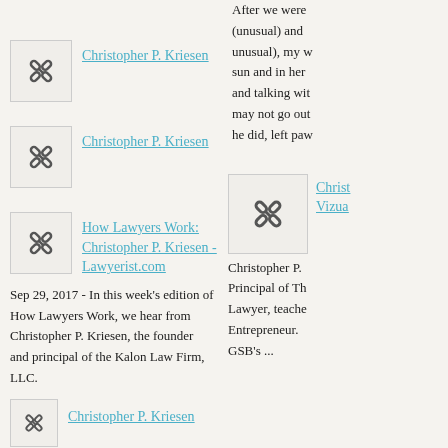Christopher P. Kriesen (link)
Christopher P. Kriesen (link)
How Lawyers Work: Christopher P. Kriesen - Lawyerist.com (link)
Sep 29, 2017 - In this week's edition of How Lawyers Work, we hear from Christopher P. Kriesen, the founder and principal of the Kalon Law Firm, LLC.
After we were (unusual) and unusual), my w sun and in her and talking wit may not go out he did, left paw
Christ Vizua (link)
Christopher P. Principal of Th Lawyer, teache Entrepreneur. GSB's ...
Christopher P. Kriesen (link - bottom)